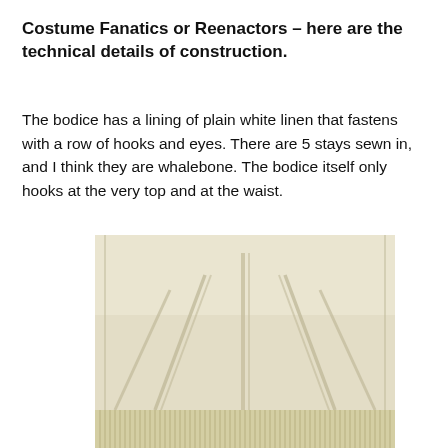Costume Fanatics or Reenactors – here are the technical details of construction.
The bodice has a lining of plain white linen that fastens with a row of hooks and eyes. There are 5 stays sewn in, and I think they are whalebone. The bodice itself only hooks at the very top and at the waist.
[Figure (photo): Close-up photograph of the lining of a historical bodice, showing plain white/cream linen fabric with visible stay channels (whalebone strips sewn in), fringe or pleating at the bottom edge.]